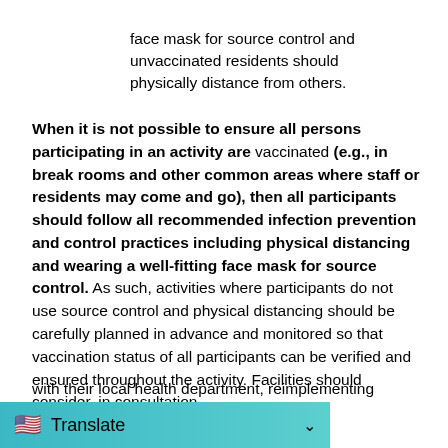face mask for source control and unvaccinated residents should physically distance from others.
When it is not possible to ensure all persons participating in an activity are vaccinated (e.g., in break rooms and other common areas where staff or residents may come and go), then all participants should follow all recommended infection prevention and control practices including physical distancing and wearing a well-fitting face mask for source control. As such, activities where participants do not use source control and physical distancing should be carefully planned in advance and monitored so that vaccination status of all participants can be verified and ensured throughout the activity. Facilities should consider, in consultation with their local health department, reimplementing